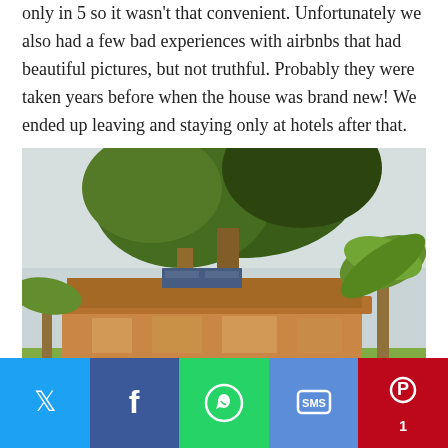only in 5 so it wasn't that convenient. Unfortunately we also had a few bad experiences with airbnbs that had beautiful pictures, but not truthful. Probably they were taken years before when the house was brand new! We ended up leaving and staying only at hotels after that.
[Figure (photo): Two people walking along a garden path toward a tropical building with trees and palm plants, warm golden light]
Twitter | Facebook | WhatsApp | SMS | Pinterest (1)